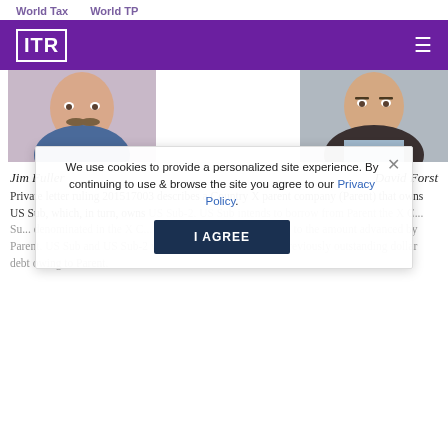World Tax   World TP
[Figure (logo): ITR logo in white on purple background with hamburger menu icon]
[Figure (photo): Photo of Jim Fuller - man with mustache in blue shirt]
[Figure (photo): Photo of David Forst - man in dark jacket]
Jim Fuller
David Forst
Private letter ruling 201517003 describes a Country X parent company (Parent) that owns US Sub, which, in turn, owns US Sub-2. US Sub intends to borrow from Parent the X C... Su... denominated in the X C... stated principal amount equal to the amount advanced by Parent. US Sub and US Sub-2 will use the ... to repay their previously outstanding dollar debt owing to Parent.
We use cookies to provide a personalized site experience. By continuing to use & browse the site you agree to our Privacy Policy.